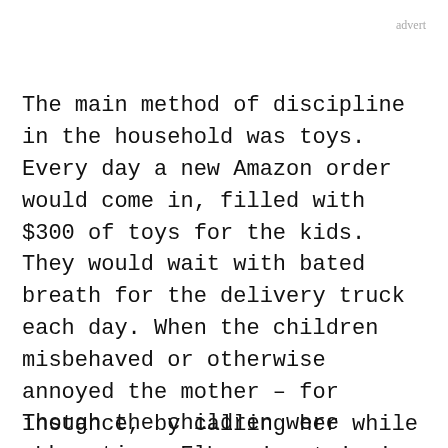advert
The main method of discipline in the household was toys. Every day a new Amazon order would come in, filled with $300 of toys for the kids. They would wait with bated breath for the delivery truck each day. When the children misbehaved or otherwise annoyed the mother – for instance, by calling her while she was on a shopping trip in New York City to talk about their new toys – she would threaten to cancel the deliveries.
Though the children were exhausting, Elena